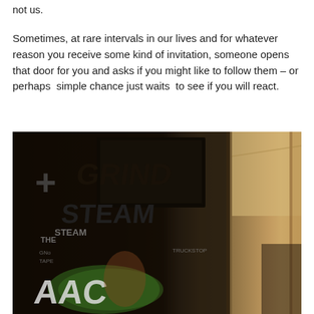not us.
Sometimes, at rare intervals in our lives and for whatever reason you receive some kind of invitation, someone opens that door for you and asks if you might like to follow them – or perhaps  simple chance just waits  to see if you will react.
[Figure (photo): Photograph of a graffiti-covered door or panel on the left side, with a hallway showing warm peach/cream walls and ceiling on the right side. The graffiti includes colorful lettering and tags in black, white, green, and orange.]